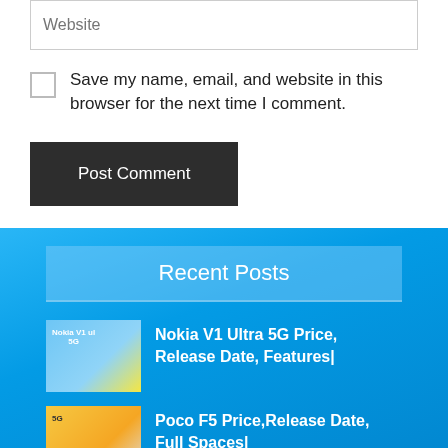Website
Save my name, email, and website in this browser for the next time I comment.
Post Comment
Recent Posts
Nokia V1 Ultra 5G Price, Release Date, Features|
Poco F5 Price,Release Date, Full Spaces|